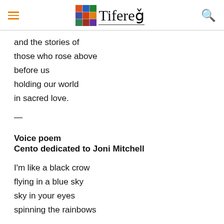Tiferet
and the stories of
those who rose above
before us
holding our world
in sacred love.
—
Voice poem
Cento dedicated to Joni Mitchell
I'm like a black crow
flying in a blue sky
sky in your eyes
spinning the rainbows